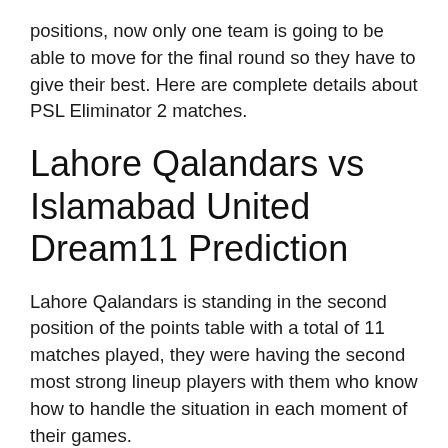positions, now only one team is going to be able to move for the final round so they have to give their best. Here are complete details about PSL Eliminator 2 matches.
Lahore Qalandars vs Islamabad United Dream11 Prediction
Lahore Qalandars is standing in the second position of the points table with a total of 11 matches played, they were having the second most strong lineup players with them who know how to handle the situation in each moment of their games.
Whereas Islamabad United is standing in the fourth position on the points table, their